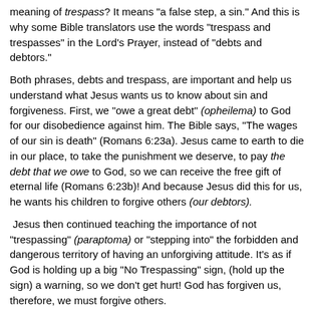meaning of trespass? It means "a false step, a sin." And this is why some Bible translators use the words "trespass and trespasses" in the Lord's Prayer, instead of "debts and debtors."
Both phrases, debts and trespass, are important and help us understand what Jesus wants us to know about sin and forgiveness. First, we "owe a great debt" (opheilema) to God for our disobedience against him. The Bible says, "The wages of our sin is death" (Romans 6:23a). Jesus came to earth to die in our place, to take the punishment we deserve, to pay the debt that we owe to God, so we can receive the free gift of eternal life (Romans 6:23b)! And because Jesus did this for us, he wants his children to forgive others (our debtors).
Jesus then continued teaching the importance of not "trespassing" (paraptoma) or "stepping into" the forbidden and dangerous territory of having an unforgiving attitude. It's as if God is holding up a big "No Trespassing" sign, (hold up the sign) a warning, so we don't get hurt! God has forgiven us, therefore, we must forgive others.
Close in Prayer
"Dear Jesus, thank you for forgiving the debts that I owe you, and the trespasses of when I've gone the wrong way. Help me to forgive others, just as you have forgiven me. In Jesus name, Amen."